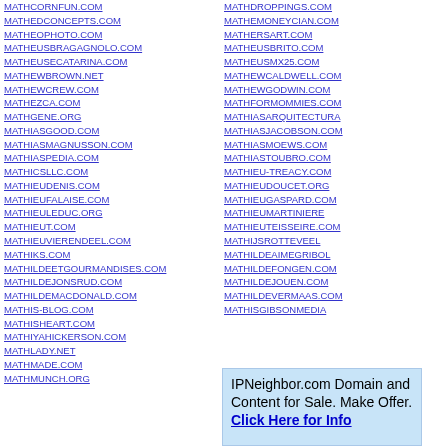MATHCORNFUN.COM
MATHEDCONCEPTS.COM
MATHEOPHOTO.COM
MATHEUSBRAGAGNOLO.COM
MATHEUSECATARINA.COM
MATHEWBROWN.NET
MATHEWCREW.COM
MATHEZCA.COM
MATHGENE.ORG
MATHIASGOOD.COM
MATHIASMAGNUSSON.COM
MATHIASPEDIA.COM
MATHICSLLC.COM
MATHIEUDENIS.COM
MATHIEUFALAISE.COM
MATHIEULEDUC.ORG
MATHIEUT.COM
MATHIEUVIERENDEEL.COM
MATHIKS.COM
MATHILDEETGOURMANDISES.COM
MATHILDEJONSRUD.COM
MATHILDEMACDONALD.COM
MATHIS-BLOG.COM
MATHISHEART.COM
MATHIYAHICKERSON.COM
MATHLADY.NET
MATHMADE.COM
MATHMUNCH.ORG
MATHDROPPINGS.COM
MATHEMONEYCIAN.COM
MATHERSART.COM
MATHEUSBRITO.COM
MATHEUSMX25.COM
MATHEWCALDWELL.COM
MATHEWGODWIN.COM
MATHFORMOMMIES.COM
MATHIASARQUITECTURA
MATHIASJACOBSON.COM
MATHIASMOEWS.COM
MATHIASTOUBRO.COM
MATHIEU-TREACY.COM
MATHIEUDOUCET.ORG
MATHIEUGASPARD.COM
MATHIEUMARTINIERE
MATHIEUTEISSEIRE.COM
MATHIJSROTTEVEEL
MATHILDEAIMEGRIBOL
MATHILDEFONGEN.COM
MATHILDEJOUEN.COM
MATHILDEVERMAAS.COM
MATHISGIBSONMEDIA
IPNeighbor.com Domain and Content for Sale. Make Offer. Click Here for Info